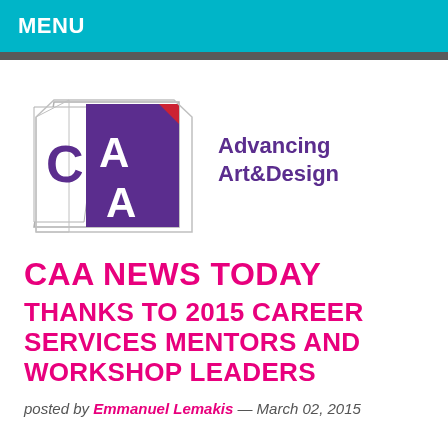MENU
[Figure (logo): CAA logo with purple and white geometric shapes forming letters C, A, A, and a red corner accent. Next to it text reading Advancing Art&Design in purple.]
CAA NEWS TODAY
THANKS TO 2015 CAREER SERVICES MENTORS AND WORKSHOP LEADERS
posted by Emmanuel Lemakis — March 02, 2015